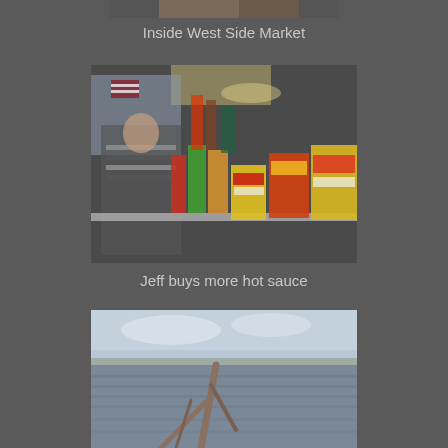[Figure (photo): Top portion of a photo showing inside West Side Market — partially cropped at the top of the page]
Inside West Side Market
[Figure (photo): A man (Jeff) browsing hot sauces at a market stall with numerous bottles and jars of hot sauce on a counter, with an American flag visible in the background]
Jeff buys more hot sauce
[Figure (photo): A lakeside or riverside scene with a piece of driftwood in the foreground and choppy gray water and distant shoreline in the background — partially cropped at the bottom of the page]